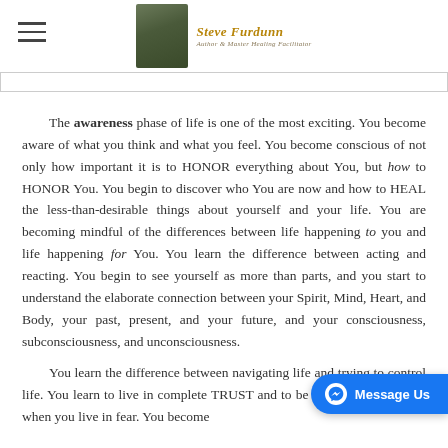Steve Furdunn - Author & Master Healing Facilitator
The awareness phase of life is one of the most exciting. You become aware of what you think and what you feel. You become conscious of not only how important it is to HONOR everything about You, but how to HONOR You. You begin to discover who You are now and how to HEAL the less-than-desirable things about yourself and your life. You are becoming mindful of the differences between life happening to you and life happening for You. You learn the difference between acting and reacting. You begin to see yourself as more than parts, and you start to understand the elaborate connection between your Spirit, Mind, Heart, and Body, your past, present, and your future, and your consciousness, subconsciousness, and unconsciousness.
You learn the difference between navigating life and trying to control life. You learn to live in complete TRUST and to be aware of those times when you live in fear. You become